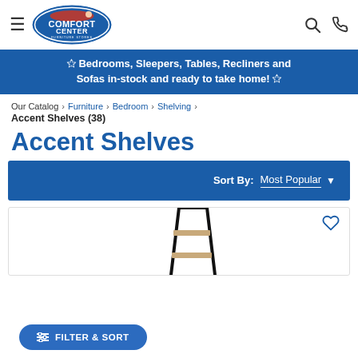[Figure (logo): Comfort Center Furniture Stores oval logo with blue border and cartoon character]
☆ Bedrooms, Sleepers, Tables, Recliners and Sofas in-stock and ready to take home! ☆
Our Catalog › Furniture › Bedroom › Shelving ›
Accent Shelves (38)
Accent Shelves
Sort By: Most Popular
[Figure (photo): Partial image of a ladder-style accent shelf in black metal frame with wood rungs]